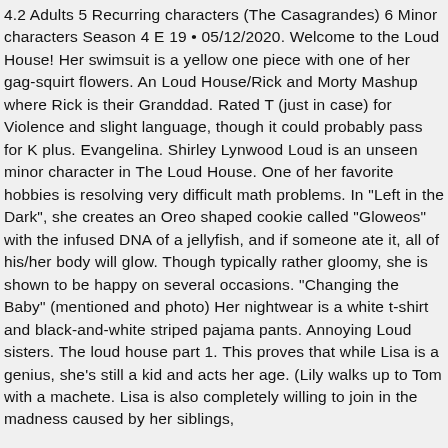4.2 Adults 5 Recurring characters (The Casagrandes) 6 Minor characters Season 4 E 19 • 05/12/2020. Welcome to the Loud House! Her swimsuit is a yellow one piece with one of her gag-squirt flowers. An Loud House/Rick and Morty Mashup where Rick is their Granddad. Rated T (just in case) for Violence and slight language, though it could probably pass for K plus. Evangelina. Shirley Lynwood Loud is an unseen minor character in The Loud House. One of her favorite hobbies is resolving very difficult math problems. In "Left in the Dark", she creates an Oreo shaped cookie called "Gloweos" with the infused DNA of a jellyfish, and if someone ate it, all of his/her body will glow. Though typically rather gloomy, she is shown to be happy on several occasions. "Changing the Baby" (mentioned and photo) Her nightwear is a white t-shirt and black-and-white striped pajama pants. Annoying Loud sisters. The loud house part 1. This proves that while Lisa is a genius, she's still a kid and acts her age. (Lily walks up to Tom with a machete. Lisa is also completely willing to join in the madness caused by her siblings,